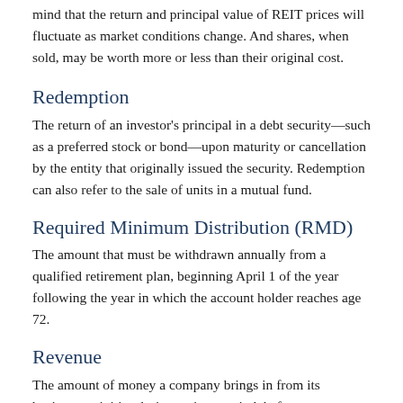mind that the return and principal value of REIT prices will fluctuate as market conditions change. And shares, when sold, may be worth more or less than their original cost.
Redemption
The return of an investor's principal in a debt security—such as a preferred stock or bond—upon maturity or cancellation by the entity that originally issued the security. Redemption can also refer to the sale of units in a mutual fund.
Required Minimum Distribution (RMD)
The amount that must be withdrawn annually from a qualified retirement plan, beginning April 1 of the year following the year in which the account holder reaches age 72.
Revenue
The amount of money a company brings in from its business activities during a given period, before expenses are deducted to determine net income.